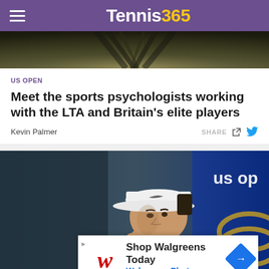Tennis365
[Figure (photo): Partial photo of a tennis player at the top of the page, dark foliage background]
US OPEN
Meet the sports psychologists working with the LTA and Britain's elite players
Kevin Palmer
[Figure (photo): Tennis player (Rafael Nadal) wearing a white Nike cap and white shirt, sitting at what appears to be a US Open press conference, resting his chin on his hand. Blue US Open banners visible in the background.]
[Figure (other): Advertisement overlay: Shop Walgreens Today - Walgreens Photo, with Walgreens cursive W logo and blue navigation arrow icon]